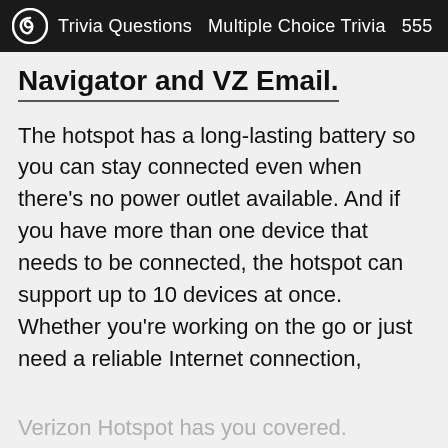Trivia Questions  Multiple Choice Trivia  555
Navigator and VZ Email.
The hotspot has a long-lasting battery so you can stay connected even when there's no power outlet available. And if you have more than one device that needs to be connected, the hotspot can support up to 10 devices at once. Whether you're working on the go or just need a reliable Internet connection,
Verizon Hotspot has you covered.